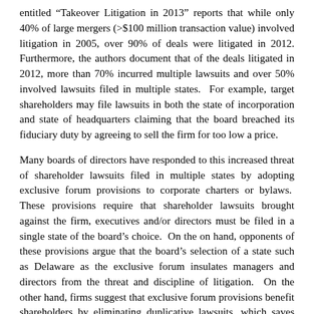entitled “Takeover Litigation in 2013” reports that while only 40% of large mergers (>$100 million transaction value) involved litigation in 2005, over 90% of deals were litigated in 2012. Furthermore, the authors document that of the deals litigated in 2012, more than 70% incurred multiple lawsuits and over 50% involved lawsuits filed in multiple states. For example, target shareholders may file lawsuits in both the state of incorporation and state of headquarters claiming that the board breached its fiduciary duty by agreeing to sell the firm for too low a price.
Many boards of directors have responded to this increased threat of shareholder lawsuits filed in multiple states by adopting exclusive forum provisions to corporate charters or bylaws. These provisions require that shareholder lawsuits brought against the firm, executives and/or directors must be filed in a single state of the board’s choice. On the on hand, opponents of these provisions argue that the board’s selection of a state such as Delaware as the exclusive forum insulates managers and directors from the threat and discipline of litigation. On the other hand, firms suggest that exclusive forum provisions benefit shareholders by eliminating duplicative lawsuits, which saves the firm time and money.
On June 25, 2013, the Delaware Chancery Court upheld the adoption of exclusive forum provisions confirming that these provisions are known as … are commonly available…